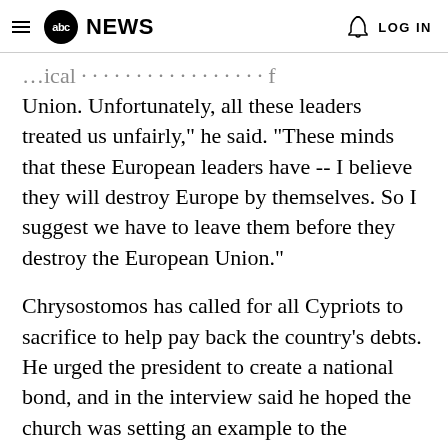abc NEWS  LOG IN
Union. Unfortunately, all these leaders treated us unfairly," he said. "These minds that these European leaders have -- I believe they will destroy Europe by themselves. So I suggest we have to leave them before they destroy the European Union."
Chrysostomos has called for all Cypriots to sacrifice to help pay back the country's debts. He urged the president to create a national bond, and in the interview said he hoped the church was setting an example to the country's richest residents -- "so they will help also."